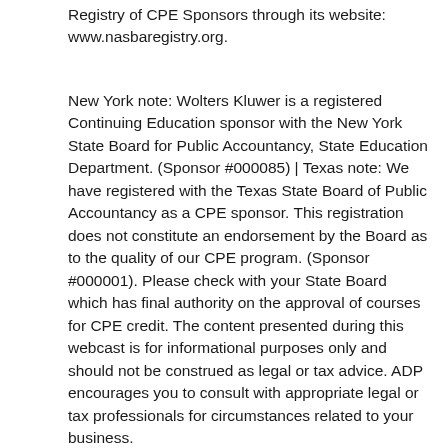Registry of CPE Sponsors through its website: www.nasbaregistry.org.
New York note: Wolters Kluwer is a registered Continuing Education sponsor with the New York State Board for Public Accountancy, State Education Department. (Sponsor #000085) | Texas note: We have registered with the Texas State Board of Public Accountancy as a CPE sponsor. This registration does not constitute an endorsement by the Board as to the quality of our CPE program. (Sponsor #000001). Please check with your State Board which has final authority on the approval of courses for CPE credit. The content presented during this webcast is for informational purposes only and should not be construed as legal or tax advice. ADP encourages you to consult with appropriate legal or tax professionals for circumstances related to your business.